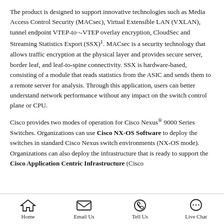The product is designed to support innovative technologies such as Media Access Control Security (MACsec), Virtual Extensible LAN (VXLAN), tunnel endpoint VTEP-to¬-VTEP overlay encryption, CloudSec and Streaming Statistics Export (SSX)1. MACsec is a security technology that allows traffic encryption at the physical layer and provides secure server, border leaf, and leaf-to-spine connectivity. SSX is hardware-based, consisting of a module that reads statistics from the ASIC and sends them to a remote server for analysis. Through this application, users can better understand network performance without any impact on the switch control plane or CPU.

Cisco provides two modes of operation for Cisco Nexus® 9000 Series Switches. Organizations can use Cisco NX-OS Software to deploy the switches in standard Cisco Nexus switch environments (NX-OS mode). Organizations can also deploy the infrastructure that is ready to support the Cisco Application Centric Infrastructure (Cisco
Home | Email Us | Tell Us | Live Chat